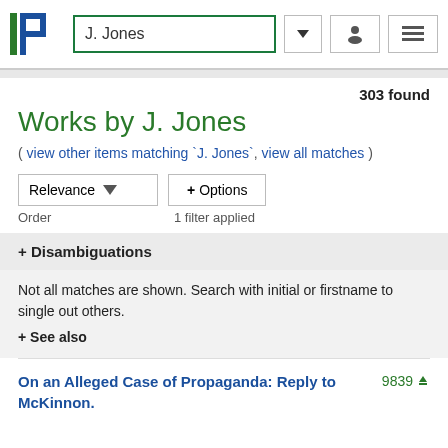J. Jones
303 found
Works by J. Jones
( view other items matching `J. Jones`, view all matches )
Relevance   + Options
Order   1 filter applied
+ Disambiguations
Not all matches are shown. Search with initial or firstname to single out others.
+ See also
On an Alleged Case of Propaganda: Reply to McKinnon.   9839